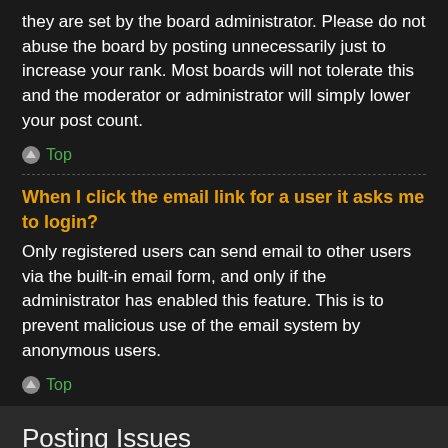they are set by the board administrator. Please do not abuse the board by posting unnecessarily just to increase your rank. Most boards will not tolerate this and the moderator or administrator will simply lower your post count.
Top
When I click the email link for a user it asks me to login?
Only registered users can send email to other users via the built-in email form, and only if the administrator has enabled this feature. This is to prevent malicious use of the email system by anonymous users.
Top
Posting Issues
How do I create a new topic or post a reply?